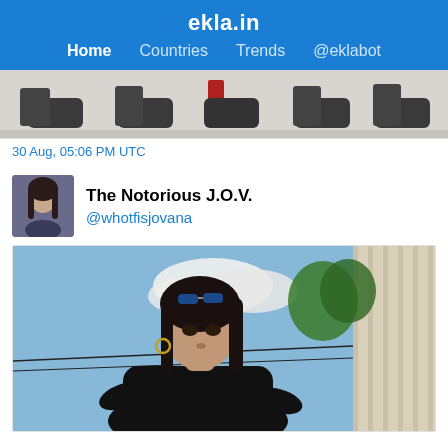ekla.in – Home | Countries | Trends | @eklabot
[Figure (photo): Cropped photo showing a row of dark shoes/boots from the ankles down against a white background, partially visible at top of page]
30 Aug, 05:06 PM UTC
The Notorious J.O.V.
@whotfisjovana
[Figure (photo): Outdoor photo of a young woman with long dark hair wearing sunglasses on her head and a black t-shirt, standing outside near plants and a light-colored building siding, looking down]